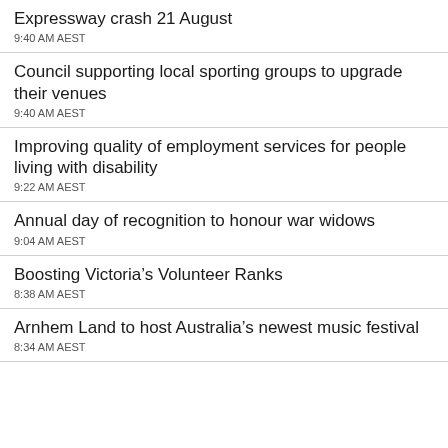Expressway crash 21 August
9:40 AM AEST
Council supporting local sporting groups to upgrade their venues
9:40 AM AEST
Improving quality of employment services for people living with disability
9:22 AM AEST
Annual day of recognition to honour war widows
9:04 AM AEST
Boosting Victoria’s Volunteer Ranks
8:38 AM AEST
Arnhem Land to host Australia’s newest music festival
8:34 AM AEST